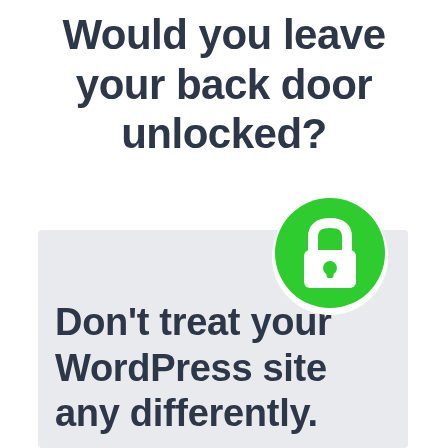Would you leave your back door unlocked?
[Figure (illustration): Green circle with a white padlock icon in the center]
Don't treat your WordPress site any differently.